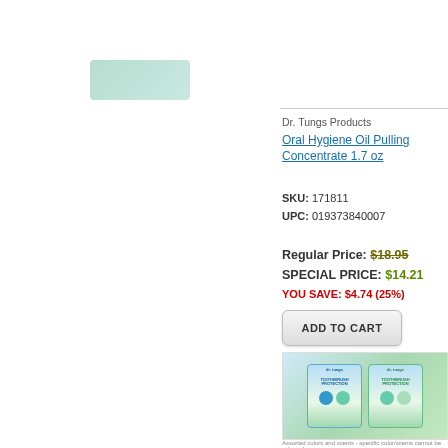[Figure (photo): Product image of Dr. Tungs Oral Hygiene Oil Pulling Concentrate at top left area]
Dr. Tungs Products
Oral Hygiene Oil Pulling Concentrate 1.7 oz
SKU: 171811
UPC: 019373840007
Regular Price: $18.95
SPECIAL PRICE: $14.21
YOU SAVE: $4.74 (25%)
ADD TO CART
[Figure (photo): Dr. Tungs Toothbrush Protection product packaging shown in two packs side by side]
Assorted colors and scents - specific color/scents cannot be selected